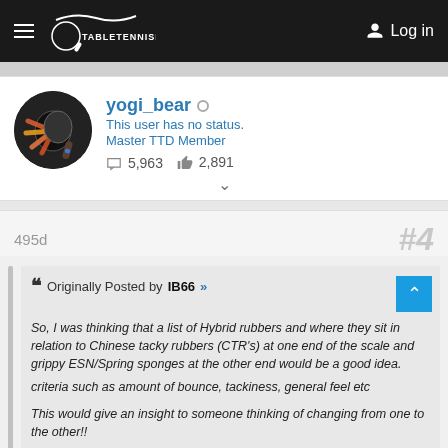TABLETENNISDAILY  Log in
yogi_bear ○
This user has no status.
Master TTD Member
💬 5,963  👍 2,891
495d  #4
Originally Posted by IB66 »
So, I was thinking that a list of Hybrid rubbers and where they sit in relation to Chinese tacky rubbers (CTR's) at one end of the scale and grippy ESN/Spring sponges at the other end would be a good idea.
criteria such as amount of bounce, tackiness, general feel etc

This would give an insight to someone thinking of changing from one to the other!!
There's a good few rubbers that I haven't used, it's a pretty short list!!! so feel free to add to the list.